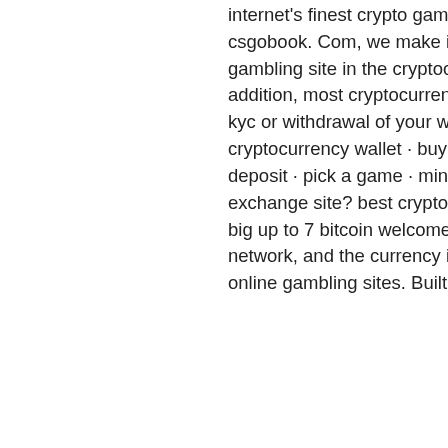internet's finest crypto gambling sites? you've come to the right place! at csgobook. Com, we make it our mission to find. Reputation for being a solid gambling site in the cryptocurrency world – in fact. 19 часов назад — in addition, most cryptocurrency casinos will not request your documents for kyc or withdrawal of your winnings. A few gambling sites may. Open a cryptocurrency wallet · buy some coins · pick a site to play with · make your deposit · pick a game · mind the value! Which is best crypto betting exchange site? best crypto betting exchange site is 1xbit, they also have a big up to 7 bitcoin welcome bonus. Ethereum is another popular blockchain network, and the currency it created (ether) is now widely accepted by online gambling sites. Built on the same premise. 22bet · parimatch ·